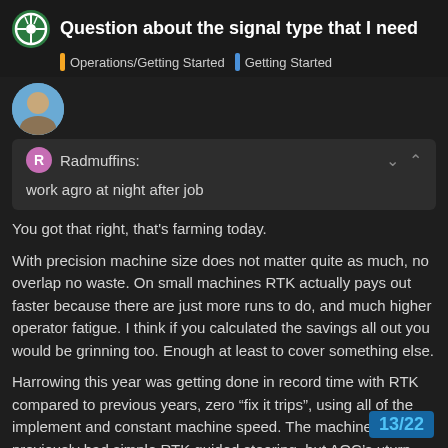Question about the signal type that I need
Operations/Getting Started   Getting Started
Radmuffins:
work agro at night after job
You got that right, that's farming today.
With precision machine size does not matter quite as much, no overlap no waste. On small machines RTK actually pays out faster because there are just more runs to do, and much higher operator fatigue. I think if you calculated the savings all out you would be grinning too. Enough at least to cover something else.
Harrowing this year was getting done in record time with RTK compared to previous years, zero “fix it trips”, using all of the implement and constant machine speed. The machine previously had simple RTK guided steering, but AOC's uturn really saves time over that era of guidance
13 / 22